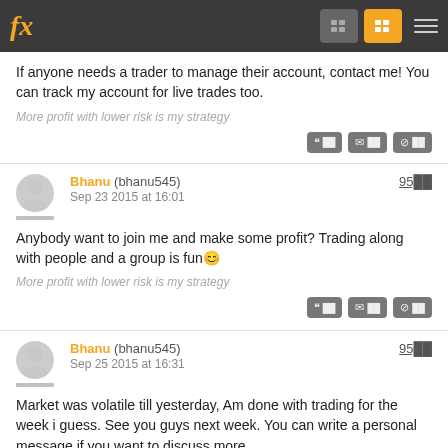fx
If anyone needs a trader to manage their account, contact me! You can track my account for live trades too.
More profit with lower risk is my strategy
Bhanu (bhanu545) Sep 23 2015 at 16:01  95███
Anybody want to join me and make some profit? Trading along with people and a group is fun😊
More profit with lower risk is my strategy
Bhanu (bhanu545) Sep 25 2015 at 16:31  95███
Market was volatile till yesterday, Am done with trading for the week i guess. See you guys next week. You can write a personal message if you want to discuss more.